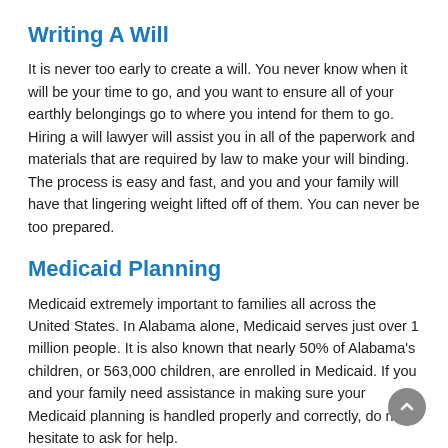Writing A Will
It is never too early to create a will. You never know when it will be your time to go, and you want to ensure all of your earthly belongings go to where you intend for them to go. Hiring a will lawyer will assist you in all of the paperwork and materials that are required by law to make your will binding. The process is easy and fast, and you and your family will have that lingering weight lifted off of them. You can never be too prepared.
Medicaid Planning
Medicaid extremely important to families all across the United States. In Alabama alone, Medicaid serves just over 1 million people. It is also known that nearly 50% of Alabama's children, or 563,000 children, are enrolled in Medicaid. If you and your family need assistance in making sure your Medicaid planning is handled properly and correctly, do not hesitate to ask for help.